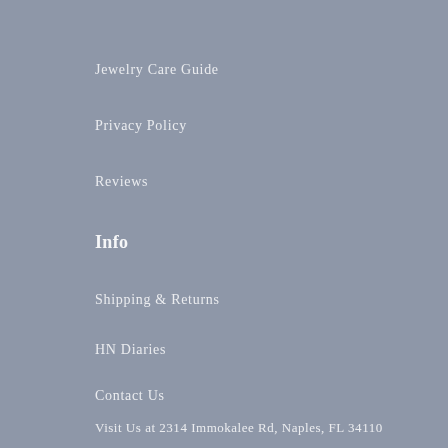Jewelry Care Guide
Privacy Policy
Reviews
Info
Shipping & Returns
HN Diaries
Contact Us
Visit Us at 2314 Immokalee Rd, Naples, FL 34110